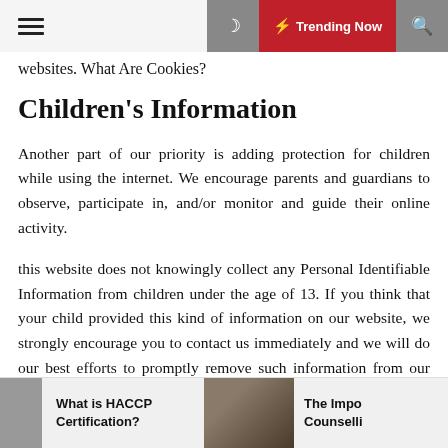☰ ☾ ⚡ Trending Now 🔍
websites. What Are Cookies?
Children's Information
Another part of our priority is adding protection for children while using the internet. We encourage parents and guardians to observe, participate in, and/or monitor and guide their online activity.
this website does not knowingly collect any Personal Identifiable Information from children under the age of 13. If you think that your child provided this kind of information on our website, we strongly encourage you to contact us immediately and we will do our best efforts to promptly remove such information from our records.
Online Privacy Policy Only
What is HACCP Certification?    The Impo Counselli